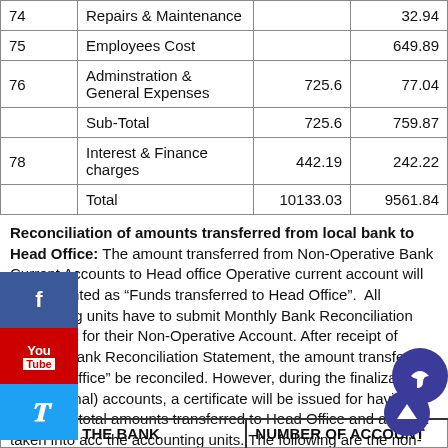|  |  |  |  |
| --- | --- | --- | --- |
| 74 | Repairs & Maintenance |  | 32.94 |
| 75 | Employees Cost |  | 649.89 |
| 76 | Adminstration & General Expenses | 725.6 | 77.04 |
|  | Sub-Total | 725.6 | 759.87 |
| 78 | Interest & Finance charges | 442.19 | 242.22 |
|  | Total | 10133.03 | 9561.84 |
Reconciliation of amounts transferred from local bank to Head Office: The amount transferred from Non-Operative Bank Current Accounts to Head office Operative current account will be accounted as "Funds transferred to Head Office". All accounting units have to submit Monthly Bank Reconciliation Statement for their Non-Operative Account. After receipt of monthly Bank Reconciliation Statement, the amount transferred to Head Office" be reconciled. However, during the finalization of March (Final) accounts, a certificate will be issued for having tallied the total amounts transferred to Head Office and amount taken into account by the accounting units. The following are the non-operative accounts maintained with different Banks
| NAME OF THE BANK | NUMBER OF ACCOUNT |
| --- | --- |